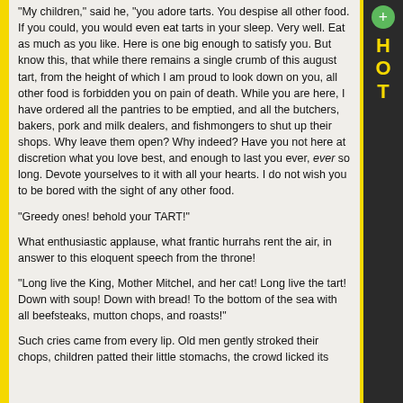"My children," said he, "you adore tarts. You despise all other food. If you could, you would even eat tarts in your sleep. Very well. Eat as much as you like. Here is one big enough to satisfy you. But know this, that while there remains a single crumb of this august tart, from the height of which I am proud to look down on you, all other food is forbidden you on pain of death. While you are here, I have ordered all the pantries to be emptied, and all the butchers, bakers, pork and milk dealers, and fishmongers to shut up their shops. Why leave them open? Why indeed? Have you not here at discretion what you love best, and enough to last you ever, ever so long. Devote yourselves to it with all your hearts. I do not wish you to be bored with the sight of any other food.
"Greedy ones! behold your TART!"
What enthusiastic applause, what frantic hurrahs rent the air, in answer to this eloquent speech from the throne!
"Long live the King, Mother Mitchel, and her cat! Long live the tart! Down with soup! Down with bread! To the bottom of the sea with all beefsteaks, mutton chops, and roasts!"
Such cries came from every lip. Old men gently stroked their chops, children patted their little stomachs, the crowd licked its